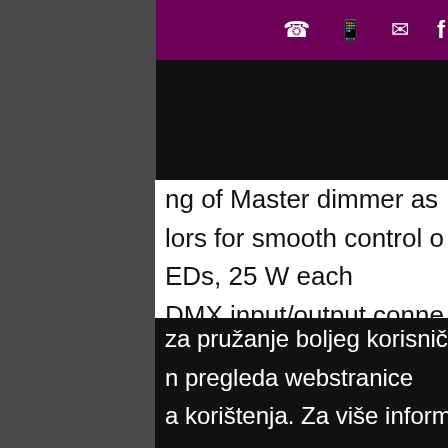☎  📱  ✉  f
[Figure (screenshot): Black banner area at top of mobile webpage]
ng of Master dimmer as
lors for smooth control o
EDs, 25 W each
DMX input/output conne
ED control for pixel mapp
design offers excellent c
n pan and tilt movement
ed for remote addressing

ed calibrated white for 75

ED maximum output to m
za pružanje boljeg korisničko
n pregleda webstranice
a korištenja. Za više informa